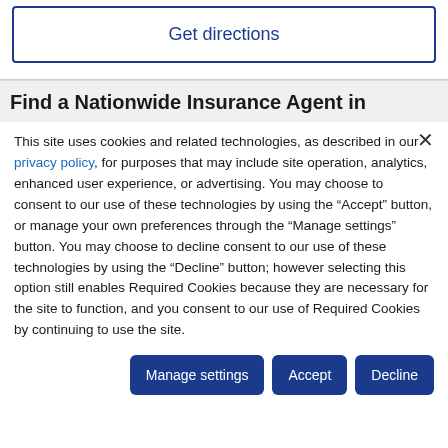Get directions
Find a Nationwide Insurance Agent in
This site uses cookies and related technologies, as described in our privacy policy, for purposes that may include site operation, analytics, enhanced user experience, or advertising. You may choose to consent to our use of these technologies by using the "Accept" button, or manage your own preferences through the "Manage settings" button. You may choose to decline consent to our use of these technologies by using the "Decline" button; however selecting this option still enables Required Cookies because they are necessary for the site to function, and you consent to our use of Required Cookies by continuing to use the site.
Manage settings | Accept | Decline